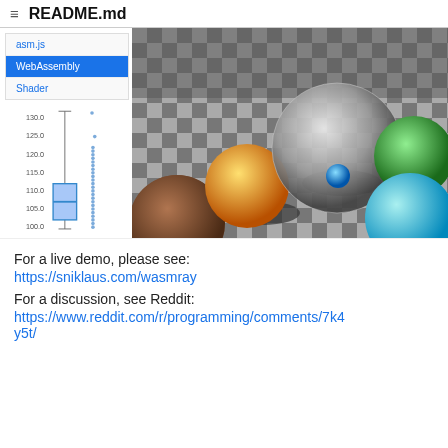README.md
[Figure (screenshot): Screenshot of a ray tracer demo showing a UI with tabs (asm.js, WebAssembly selected in blue, Shader), a box plot chart on the left, and a ray-traced 3D scene with colorful spheres on a checkerboard floor on the right.]
For a live demo, please see:
https://sniklaus.com/wasmray
For a discussion, see Reddit:
https://www.reddit.com/r/programming/comments/7k4y5t/